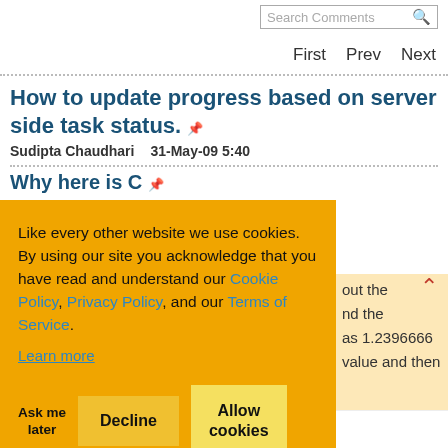Search Comments
First  Prev  Next
How to update progress based on server side task status.
Sudipta Chaudhari    31-May-09 5:40
Why here is C...
Like every other website we use cookies. By using our site you acknowledge that you have read and understand our Cookie Policy, Privacy Policy, and our Terms of Service.
Learn more
Ask me later   Decline   Allow cookies
...out the ...nd the ...as 1.2396666 ...value and then
convert it to a int value for display purposes